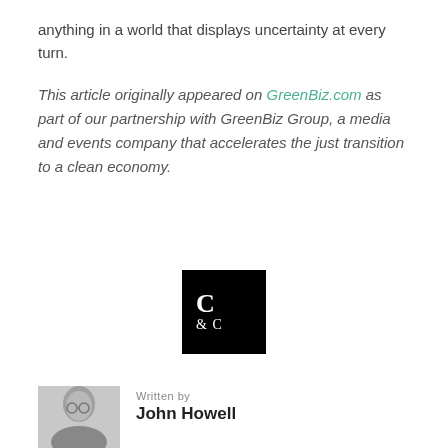anything in a world that displays uncertainty at every turn.
This article originally appeared on GreenBiz.com as part of our partnership with GreenBiz Group, a media and events company that accelerates the just transition to a clean economy.
[Figure (logo): C & C logo — black square with white letters C and &C in serif font]
Written by
John Howell
[Figure (photo): Black and white headshot photo of John Howell]